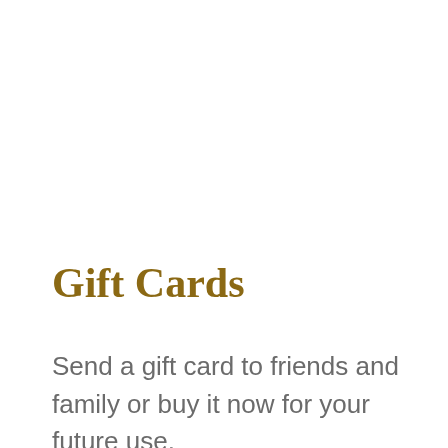Gift Cards
Send a gift card to friends and family or buy it now for your future use.